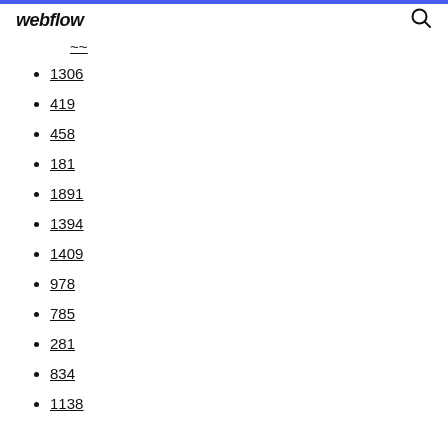webflow
~~
1306
419
458
181
1891
1394
1409
978
785
281
834
1138